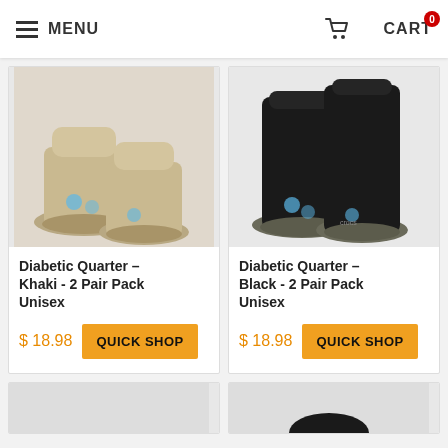MENU  CART
[Figure (photo): Two khaki/tan diabetic quarter socks shown side by side on a white background]
Diabetic Quarter – Khaki - 2 Pair Pack Unisex
$ 18.98  QUICK SHOP
[Figure (photo): Two black diabetic quarter socks shown side by side on a white background]
Diabetic Quarter – Black - 2 Pair Pack Unisex
$ 18.98  QUICK SHOP